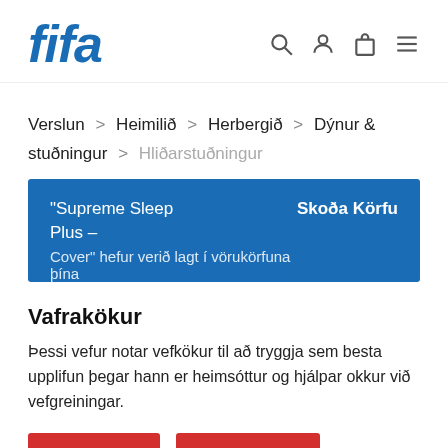[Figure (logo): FIFA logo in bold italic blue text]
Verslun > Heimilið > Herbergið > Dýnur & stuðningur > Hliðarstuðningur
"Supreme Sleep Plus – Cover" hefur verið lagt í vörukörfuna þína    Skoða Körfu
Vafrakökur
Þessi vefur notar vefkökur til að tryggja sem besta upplifun þegar hann er heimsóttur og hjálpar okkur við vefgreiningar.
Skilmálar
Samþykkja